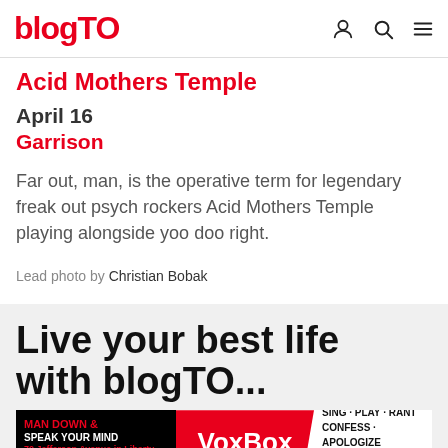blogTO
Acid Mothers Temple
April 16
Garrison
Far out, man, is the operative term for legendary freak out psych rockers Acid Mothers Temple playing alongside yoo doo right.
Lead photo by Christian Bobak
Live your best life with blogTO...
[Figure (other): VoxBox advertisement banner: MAN DOWN & SPEAK YOUR MIND / 70 Jefferson Avenue in Liberty Village / VoxBox / SING · PLAY · RANT / CONFESS · APOLOGIZE / SELL...or just tell us a good joke!]